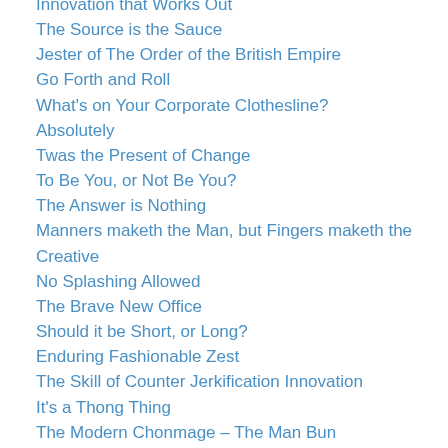Innovation that Works Out
The Source is the Sauce
Jester of The Order of the British Empire
Go Forth and Roll
What's on Your Corporate Clothesline?
Absolutely
Twas the Present of Change
To Be You, or Not Be You?
The Answer is Nothing
Manners maketh the Man, but Fingers maketh the Creative
No Splashing Allowed
The Brave New Office
Should it be Short, or Long?
Enduring Fashionable Zest
The Skill of Counter Jerkification Innovation
It's a Thong Thing
The Modern Chonmage – The Man Bun
Be a Leader in All Things Creative
The Law of Innovative Featherization
Ideas – Shaken, Not Stirred